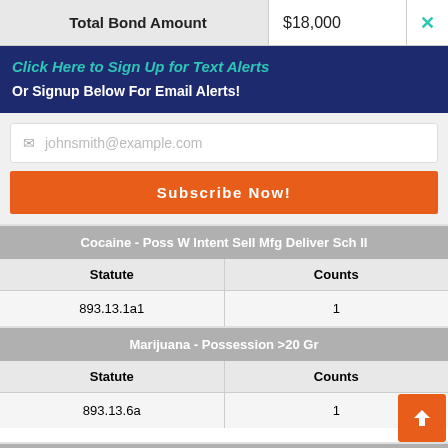| Total Bond Amount | $18,000 |
| --- | --- |
Click Here to Sign Up for Text Alerts
Or Signup Below For Email Alerts!
johnsmith@example.com
Subscribe Now!
| Cocaine - Poss W Intent Sell Mfg Deliver Sch II |  |
| --- | --- |
| Statute | Counts |
| 893.13.1a1 | 1 |
| Marijuana - Possession >20 Gr |  |
| --- | --- |
| Statute | Counts |
| 893.13.6a | 1 |
Marijuana - Poss W Intent Sell Mfg Deliver Sch I